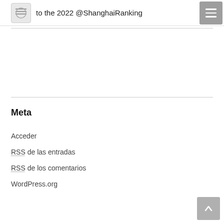to the 2022 @ShanghaiRanking
Meta
Acceder
RSS de las entradas
RSS de los comentarios
WordPress.org